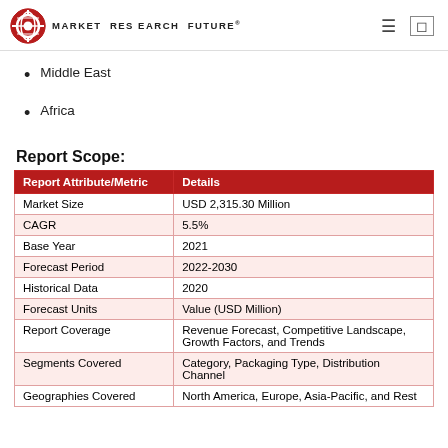MARKET RESEARCH FUTURE®
Middle East
Africa
Report Scope:
| Report Attribute/Metric | Details |
| --- | --- |
| Market Size | USD 2,315.30 Million |
| CAGR | 5.5% |
| Base Year | 2021 |
| Forecast Period | 2022-2030 |
| Historical Data | 2020 |
| Forecast Units | Value (USD Million) |
| Report Coverage | Revenue Forecast, Competitive Landscape, Growth Factors, and Trends |
| Segments Covered | Category, Packaging Type, Distribution Channel |
| Geographies Covered | North America, Europe, Asia-Pacific, and Rest |